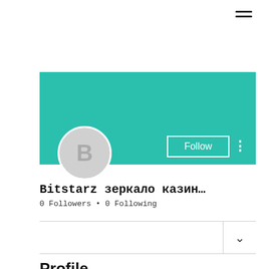≡
[Figure (screenshot): User profile card with teal banner background, circular avatar with letter B, Follow button, and three-dot menu icon]
Bitstarz зеркало казин…
0 Followers • 0 Following
Profile